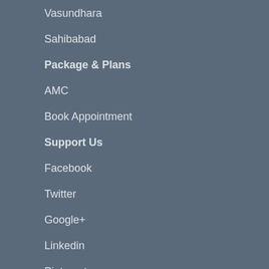Vasundhara
Sahibabad
Package & Plans
AMC
Book Appointment
Support Us
Facebook
Twitter
Google+
Linkedin
Pinterest